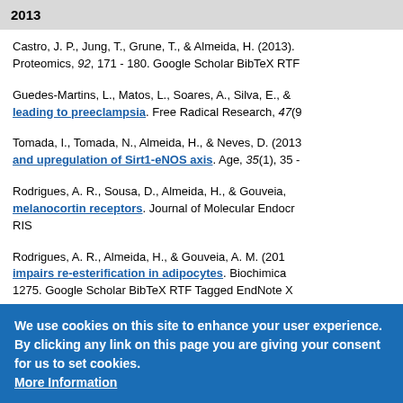2013
Castro, J. P., Jung, T., Grune, T., & Almeida, H. (2013). Proteomics, 92, 171 - 180. Google Scholar BibTeX RTF
Guedes-Martins, L., Matos, L., Soares, A., Silva, E., & leading to preeclampsia. Free Radical Research, 47(9
Tomada, I., Tomada, N., Almeida, H., & Neves, D. (2013 and upregulation of Sirt1-eNOS axis. Age, 35(1), 35 -
Rodrigues, A. R., Sousa, D., Almeida, H., & Gouveia, melanocortin receptors. Journal of Molecular Endocr RIS
Rodrigues, A. R., Almeida, H., & Gouveia, A. M. (201 impairs re-esterification in adipocytes. Biochimica 1275. Google Scholar BibTeX RTF Tagged EndNote X
2012
Castro, J. P., Ott, C., Jung, T., Grune, T., & Almeida, H
We use cookies on this site to enhance your user experience. By clicking any link on this page you are giving your consent for us to set cookies. More Information